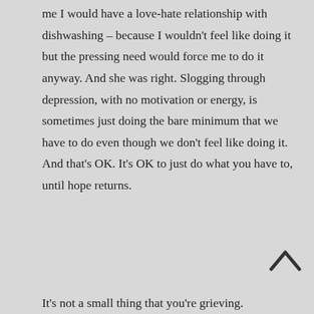me I would have a love-hate relationship with dishwashing – because I wouldn't feel like doing it but the pressing need would force me to do it anyway. And she was right. Slogging through depression, with no motivation or energy, is sometimes just doing the bare minimum that we have to do even though we don't feel like doing it. And that's OK. It's OK to just do what you have to, until hope returns.
It's not a small thing that you're grieving.